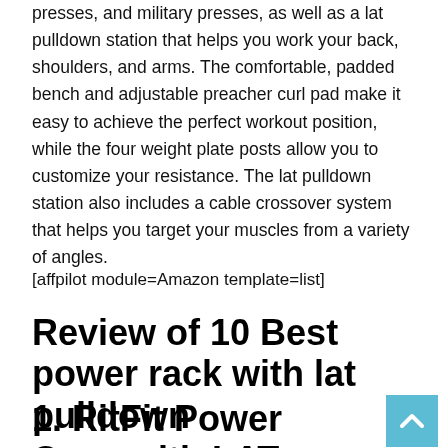presses, and military presses, as well as a lat pulldown station that helps you work your back, shoulders, and arms. The comfortable, padded bench and adjustable preacher curl pad make it easy to achieve the perfect workout position, while the four weight plate posts allow you to customize your resistance. The lat pulldown station also includes a cable crossover system that helps you target your muscles from a variety of angles.
[affpilot module=Amazon template=list]
Review of 10 Best power rack with lat pulldown
1. RitFit Power Cage with LAT Pull Down and 360° Landmine,